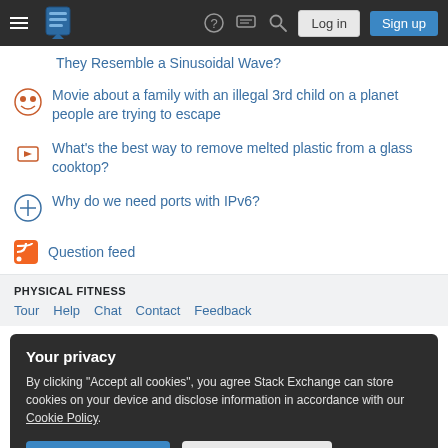Stack Exchange navigation bar with hamburger menu, logo, help, chat, search icons, Log in and Sign up buttons
They Resemble a Sinusoidal Wave?
Movie about a family with an illegal 3rd child on a planet people are trying to escape
What's the best way to remove melted plastic from a glass cooktop?
Why do we need ports with IPv6?
Question feed
PHYSICAL FITNESS
Tour  Help  Chat  Contact  Feedback
Your privacy
By clicking "Accept all cookies", you agree Stack Exchange can store cookies on your device and disclose information in accordance with our Cookie Policy.
Business  API  Data